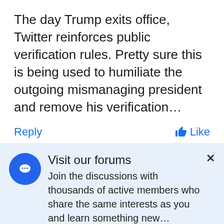The day Trump exits office, Twitter reinforces public verification rules. Pretty sure this is being used to humiliate the outgoing mismanaging president and remove his verification…
Reply
Like
Visit our forums
Join the discussions with thousands of active members who share the same interests as you and learn something new…
ONLYTECH FORUMS  ›